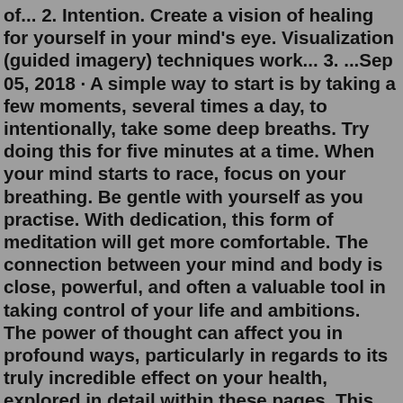of... 2. Intention. Create a vision of healing for yourself in your mind's eye. Visualization (guided imagery) techniques work... 3. ...Sep 05, 2018 · A simple way to start is by taking a few moments, several times a day, to intentionally, take some deep breaths. Try doing this for five minutes at a time. When your mind starts to race, focus on your breathing. Be gentle with yourself as you practise. With dedication, this form of meditation will get more comfortable. The connection between your mind and body is close, powerful, and often a valuable tool in taking control of your life and ambitions. The power of thought can affect you in profound ways, particularly in regards to its truly incredible effect on your health, explored in detail within these pages. This fascinating book by cutting-edge scientist David R. Hamilton explores the power of ...The body is in constant communication with the mind. This communication benefits both the physical and mental aspects of being well. When the placebo effect works, it's clear all four aspects are involved. The patient's